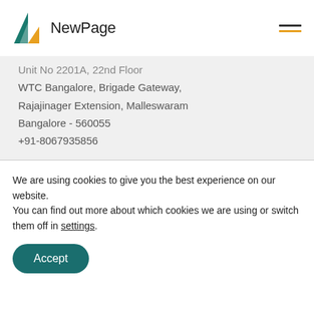NewPage
Unit No 2201A, 22nd Floor
WTC Bangalore, Brigade Gateway,
Rajajinager Extension, Malleswaram
Bangalore - 560055
+91-8067935856
USA
NewPage Solution Inc.,
We are using cookies to give you the best experience on our website.
You can find out more about which cookies we are using or switch them off in settings.
Accept